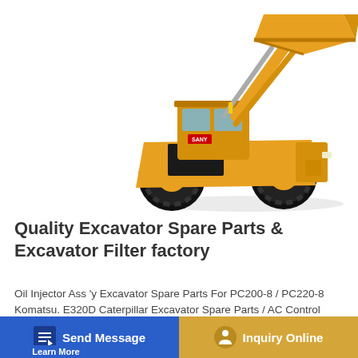[Figure (photo): Yellow wheel loader (front loader / construction equipment) photographed against a white background, angled view showing cab, front bucket raised, large black tires, yellow and black color scheme.]
Quality Excavator Spare Parts & Excavator Filter factory
Oil Injector Ass 'y Excavator Spare Parts For PC200-8 / PC220-8 Komatsu. E320D Caterpillar Excavator Spare Parts / AC Control Panel 6 Months Warranty. Contact Now. PC20...